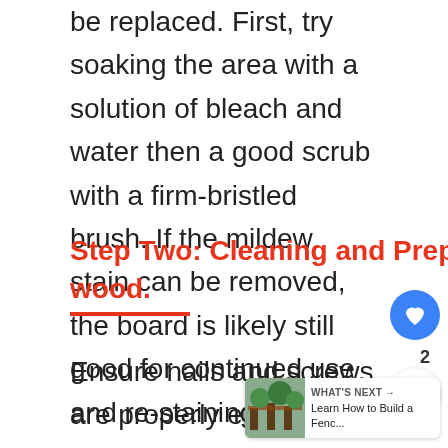be replaced. First, try soaking the area with a solution of bleach and water then a good scrub with a firm-bristled brush. If the mildew stain can be removed, the board is likely still good for continued use and re-staining.
Step Two: Cleaning and Preparing the wood.
Ensure nails and screws are properly embedded and replace any that may be missing. Remove dirt and debris on surface of the boards, and if possible,